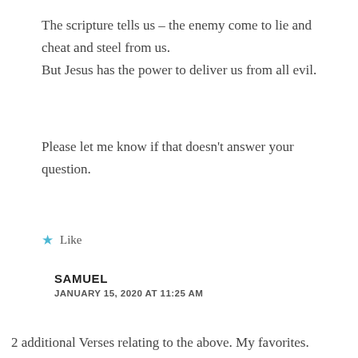The scripture tells us – the enemy come to lie and cheat and steel from us. But Jesus has the power to deliver us from all evil.
Please let me know if that doesn't answer your question.
★ Like
SAMUEL
JANUARY 15, 2020 AT 11:25 AM
2 additional Verses relating to the above. My favorites.